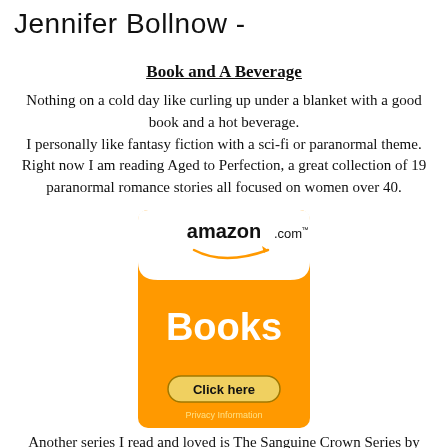Jennifer Bollnow -
Book and A Beverage
Nothing on a cold day like curling up under a blanket with a good book and a hot beverage.
I personally like fantasy fiction with a sci-fi or paranormal theme. Right now I am reading Aged to Perfection, a great collection of 19 paranormal romance stories all focused on women over 40.
[Figure (illustration): Amazon.com Books advertisement banner with orange background, white Amazon logo area at top, 'Books' text in white, yellow 'Click here' button, and 'Privacy Information' text at bottom.]
Another series I read and loved is The Sanguine Crown Series by